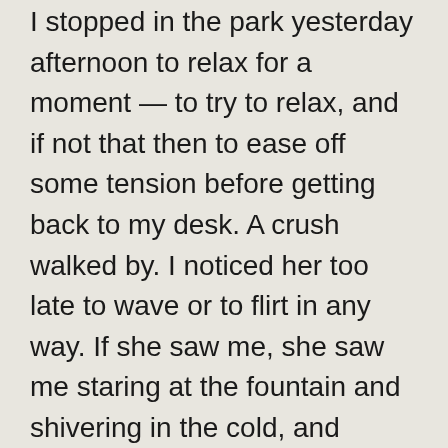I stopped in the park yesterday afternoon to relax for a moment — to try to relax, and if not that then to ease off some tension before getting back to my desk. A crush walked by. I noticed her too late to wave or to flirt in any way. If she saw me, she saw me staring at the fountain and shivering in the cold, and chose not to interrupt me. I watched the back of her head for a minute and then focused my eyes back on the water.
Today I took another afternoon break in the park. I sat on the hill and read a couple of chapters. I was a little calmer than I'd been